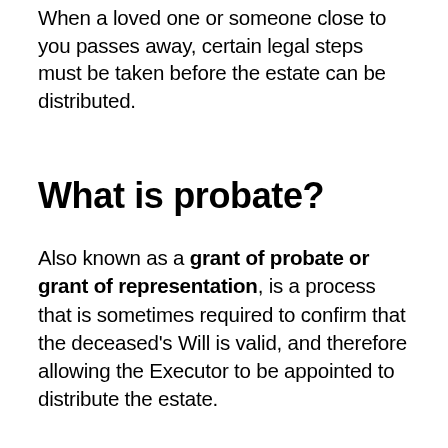When a loved one or someone close to you passes away, certain legal steps must be taken before the estate can be distributed.
What is probate?
Also known as a grant of probate or grant of representation, is a process that is sometimes required to confirm that the deceased's Will is valid, and therefore allowing the Executor to be appointed to distribute the estate.